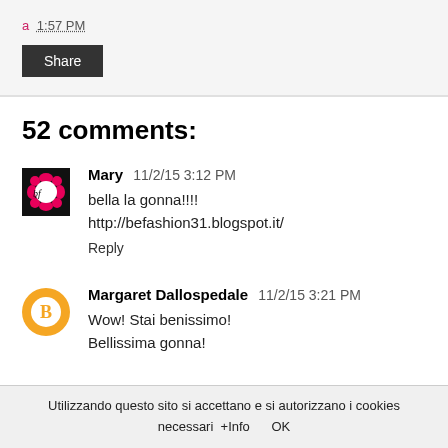a 1:57 PM
Share
52 comments:
[Figure (illustration): Avatar image for Mary - black and pink flower logo]
Mary  11/2/15 3:12 PM
bella la gonna!!!!
http://befashion31.blogspot.it/
Reply
[Figure (illustration): Avatar icon for Margaret Dallospedale - orange circle with B blogger logo]
Margaret Dallospedale  11/2/15 3:21 PM
Wow! Stai benissimo!
Bellissima gonna!
Utilizzando questo sito si accettano e si autorizzano i cookies necessari  +Info      OK